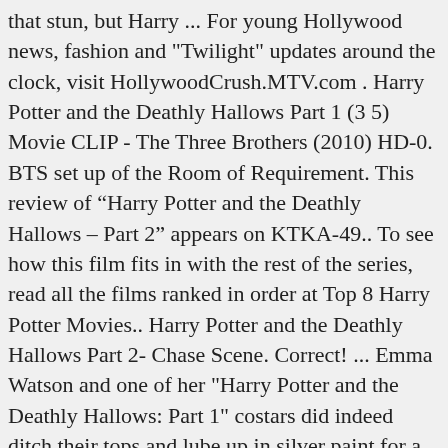that stun, but Harry ... For young Hollywood news, fashion and "Twilight" updates around the clock, visit HollywoodCrush.MTV.com . Harry Potter and the Deathly Hallows Part 1 (3 5) Movie CLIP - The Three Brothers (2010) HD-0. BTS set up of the Room of Requirement. This review of “Harry Potter and the Deathly Hallows – Part 2” appears on KTKA-49.. To see how this film fits in with the rest of the series, read all the films ranked in order at Top 8 Harry Potter Movies.. Harry Potter and the Deathly Hallows Part 2- Chase Scene. Correct! ... Emma Watson and one of her "Harry Potter and the Deathly Hallows: Part 1" costars did indeed ditch their tops and lube up in silver paint for a "full ... Harry Potter and the Deathly Hallows, Part 2 - Opening Scene with Prof. Filius Flitwick Griphook. Harry Potter; Behind the scenes. 21. Harry Potter AND THE DEATHLY HALLOWS. By Paul Revoir for MailOnline Updated: 13:39 EST, 29 June 2010 The darkest Harry Potter of them all: